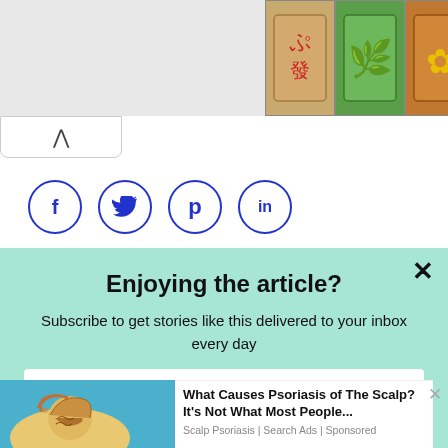[Figure (screenshot): Top banner with mahjong game tiles and partial text 'P FAVOR']
[Figure (screenshot): Social share buttons: Facebook (f), Twitter (bird), Pinterest (p), LinkedIn (in) as blue outlined circles]
Enjoying the article?
Subscribe to get stories like this delivered to your inbox every day
Enter your email
[Figure (illustration): Ad image showing hands scratching a scalp with decorative patterns]
What Causes Psoriasis of The Scalp? It's Not What Most People...
Scalp Psoriasis | Search Ads | Sponsored